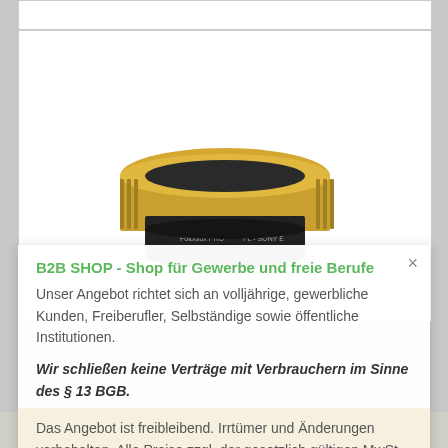[Figure (photo): Gold and black lens mount adapter ring, labeled 'Fotodiox PRO PL-SONY E', circular shape with ridged outer ring in gold/brass color and black inner section]
B2B SHOP - Shop für Gewerbe und freie Berufe
Unser Angebot richtet sich an volljährige, gewerbliche Kunden, Freiberufler, Selbständige sowie öffentliche Institutionen.
Wir schließen keine Verträge mit Verbrauchern im Sinne des § 13 BGB.
Das Angebot ist freibleibend. Irrtümer und Änderungen vorbehalten. Alle Preise zzgl. der gesetzlich gültigen MwSt.
Alle Akzeptieren
Verstanden
Individuelle Einstellungen